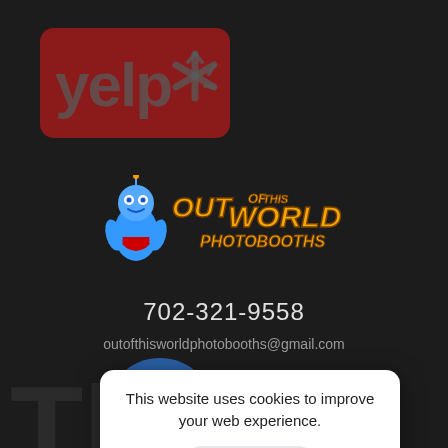[Figure (logo): Yelp logo — red rounded rectangle with 'yelp' text and asterisk/snowflake icon in muted gray]
[Figure (logo): Out of This World Photobooths logo — cartoon blue robot mascot with orange and yellow stylized text]
702-321-9558
outofthisworldphotobooths@gmail.com
This website uses cookies to improve your web experience.
Accept